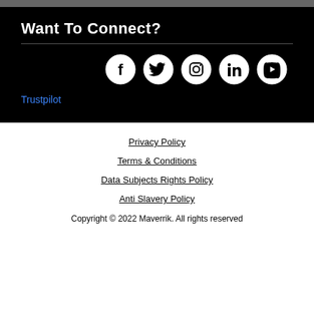Want To Connect?
[Figure (illustration): Row of five social media icons: Facebook, Twitter, Instagram, LinkedIn, YouTube — white icons on circular black backgrounds with white outlines]
Trustpilot
Privacy Policy
Terms & Conditions
Data Subjects Rights Policy
Anti Slavery Policy
Copyright © 2022 Maverrik. All rights reserved